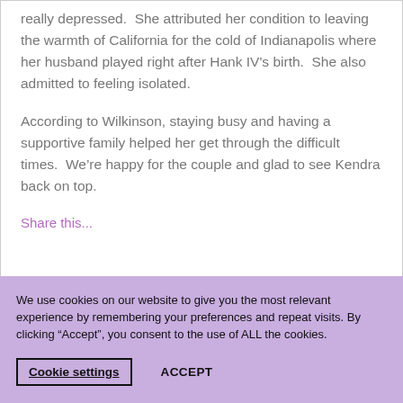really depressed.  She attributed her condition to leaving the warmth of California for the cold of Indianapolis where her husband played right after Hank IV's birth.  She also admitted to feeling isolated.
According to Wilkinson, staying busy and having a supportive family helped her get through the difficult times.  We’re happy for the couple and glad to see Kendra back on top.
Share this...
We use cookies on our website to give you the most relevant experience by remembering your preferences and repeat visits. By clicking “Accept”, you consent to the use of ALL the cookies.
Cookie settings
ACCEPT